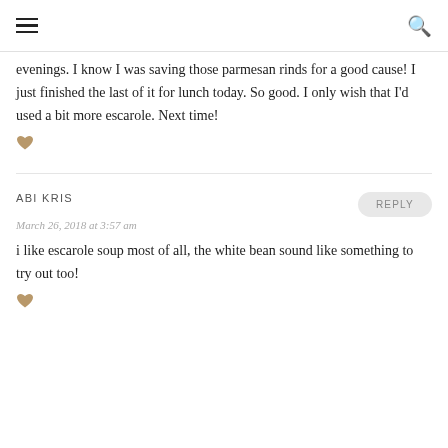☰  🔍
evenings. I know I was saving those parmesan rinds for a good cause! I just finished the last of it for lunch today. So good. I only wish that I'd used a bit more escarole. Next time!
ABI KRIS
March 26, 2018 at 3:57 am
i like escarole soup most of all, the white bean sound like something to try out too!